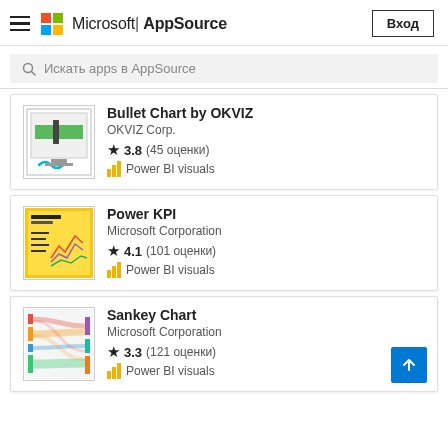Microsoft | AppSource — Вход
Искать apps в AppSource
Bullet Chart by OKVIZ
OKVIZ Corp.
★ 3.8 (45 оценки)
Power BI visuals
Power KPI
Microsoft Corporation
★ 4.1 (101 оценки)
Power BI visuals
Sankey Chart
Microsoft Corporation
★ 3.3 (121 оценки)
Power BI visuals